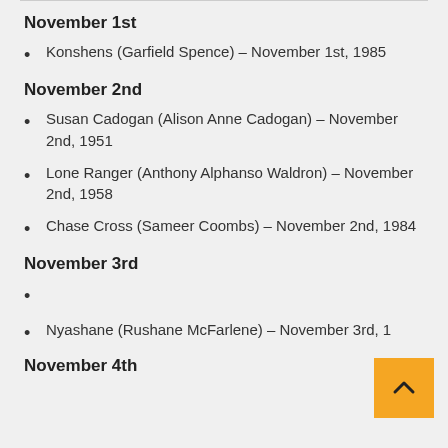November 1st
Konshens (Garfield Spence) – November 1st, 1985
November 2nd
Susan Cadogan (Alison Anne Cadogan) – November 2nd, 1951
Lone Ranger (Anthony Alphanso Waldron) – November 2nd, 1958
Chase Cross (Sameer Coombs) – November 2nd, 1984
November 3rd
Nyashane (Rushane McFarlene) – November 3rd, 1988
November 4th